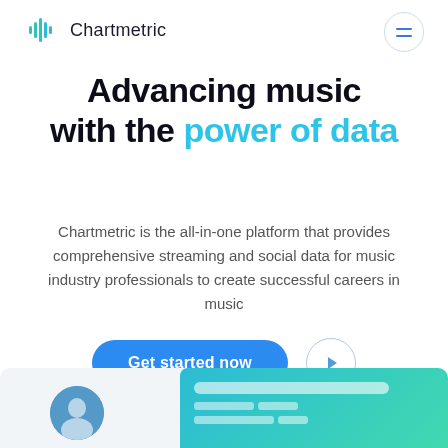[Figure (logo): Chartmetric logo: teal soundwave icon with text 'Chartmetric' beside it]
Advancing music with the power of data
Chartmetric is the all-in-one platform that provides comprehensive streaming and social data for music industry professionals to create successful careers in music
[Figure (other): Two UI buttons: a blue rounded 'Get started now' button and a circular play button]
[Figure (screenshot): Partial screenshot of the Chartmetric platform UI showing a user avatar and a teal dashboard panel with a search bar]